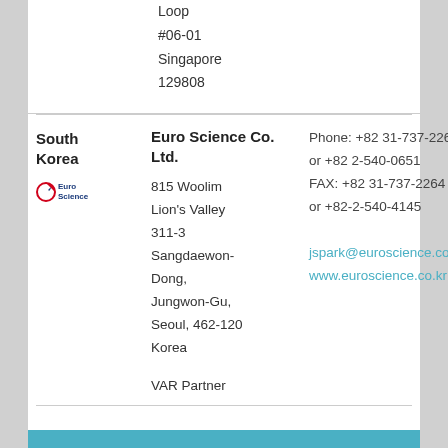Loop
#06-01
Singapore
129808
South Korea
[Figure (logo): Euro Science company logo with red and blue circular symbol]
Euro Science Co. Ltd.
815 Woolim Lion's Valley 311-3 Sangdaewon-Dong, Jungwon-Gu, Seoul, 462-120 Korea
VAR Partner
Phone: +82 31-737-2260 or +82 2-540-0651
FAX: +82 31-737-2264 or +82-2-540-4145
jspark@euroscience.co.kr
www.euroscience.co.kr